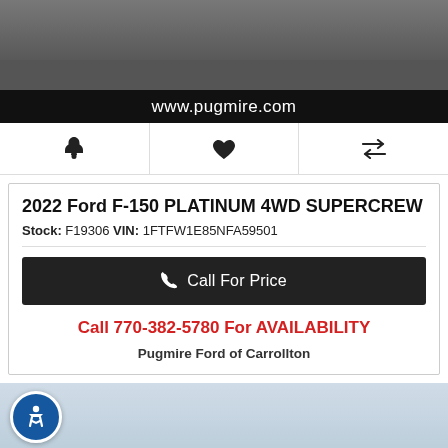[Figure (photo): Partial view of a vehicle (tires/underside visible) on asphalt pavement]
www.pugmire.com
[Figure (infographic): Three icon buttons: bell (alerts), heart (save), compare arrows]
2022 Ford F-150 PLATINUM 4WD SUPERCREW 5.
Stock: F19306 VIN: 1FTFW1E85NFA59501
Call For Price
Call 770-382-5780 For AVAILABILITY
Pugmire Ford of Carrollton
[Figure (photo): Sky/clouds background with accessibility icon button (person in circle, blue)]
Alerts   Save   Live Chat